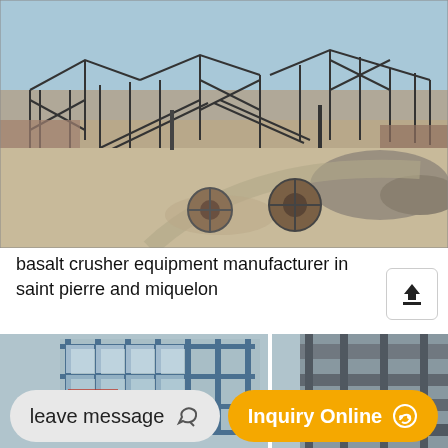[Figure (photo): Industrial construction site with large metal framework structures and conveyor belts. Sandy/dusty ground with cable reels and gravel piles in foreground. Clear blue sky.]
basalt crusher equipment manufacturer in saint pierre and miquelon
[Figure (photo): Partial view of construction steel structure and equipment, partially obscured by bottom UI bar.]
leave message
Inquiry Online